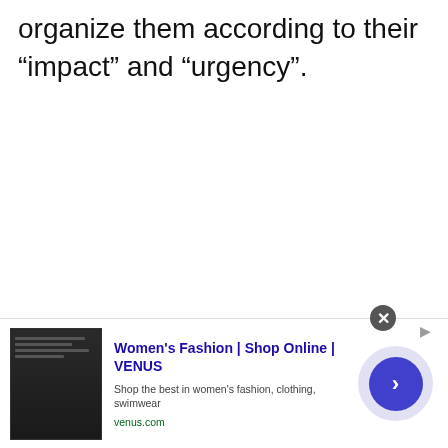organize them according to their “impact” and “urgency”.
[Figure (screenshot): Advertisement banner for Women's Fashion | Shop Online | VENUS. Shows website screenshot thumbnail on left, ad text in middle with title 'Women's Fashion | Shop Online | VENUS', description 'Shop the best in women’s fashion, clothing, swimwear', URL 'venus.com', and a blue circular play/arrow button on right. Close button (X) in upper right of banner.]